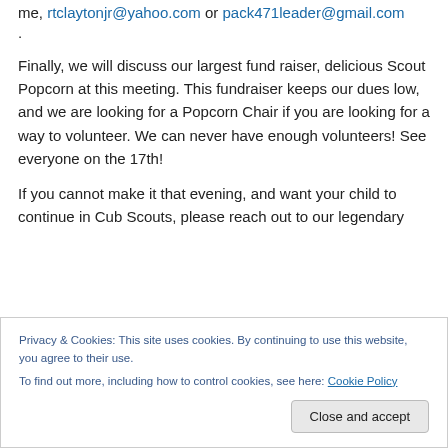me, rtclaytonjr@yahoo.com or pack471leader@gmail.com
.
Finally, we will discuss our largest fund raiser, delicious Scout Popcorn at this meeting. This fundraiser keeps our dues low, and we are looking for a Popcorn Chair if you are looking for a way to volunteer. We can never have enough volunteers! See everyone on the 17th!
If you cannot make it that evening, and want your child to continue in Cub Scouts, please reach out to our legendary
Privacy & Cookies: This site uses cookies. By continuing to use this website, you agree to their use. To find out more, including how to control cookies, see here: Cookie Policy
Close and accept